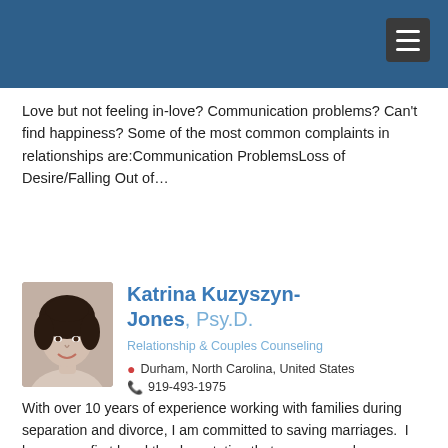Love but not feeling in-love? Communication problems? Can't find happiness? Some of the most common complaints in relationships are:Communication ProblemsLoss of Desire/Falling Out of...
Katrina Kuzyszyn-Jones, Psy.D.
Relationship & Couples Counseling
Durham, North Carolina, United States
919-493-1975
With over 10 years of experience working with families during separation and divorce, I am committed to saving marriages.  I have seen first hand the devastation that can occur when